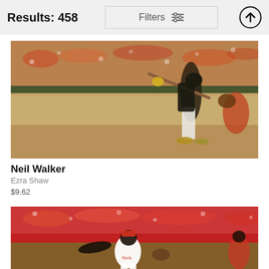Results: 458
Filters
[Figure (photo): Baseball player (Neil Walker) in Pittsburgh Pirates uniform swinging a bat at a baseball game, with catcher visible and crowd in background]
Neil Walker
Ezra Shaw
$9.62
[Figure (photo): Baseball pitcher in Cincinnati Reds white uniform mid-throw on a baseball field with crowd visible in background]